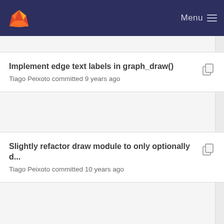Menu
Implement edge text labels in graph_draw()
Tiago Peixoto committed 9 years ago
Slightly refactor draw module to only optionally d...
Tiago Peixoto committed 10 years ago